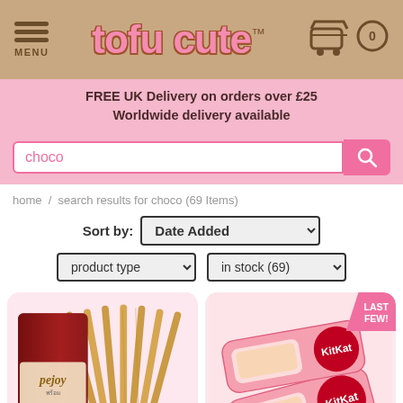tofu cute™ — MENU / Cart 0
FREE UK Delivery on orders over £25
Worldwide delivery available
choco (search box)
home / search results for choco (69 Items)
Sort by: Date Added
product type | in stock (69)
[Figure (photo): Pejoy chocolate-taste biscuit sticks product box with stick biscuits spilling out on a pink background]
[Figure (photo): KitKat strawberry mini bars in pink packaging with 'LAST FEW!' badge on pink background]